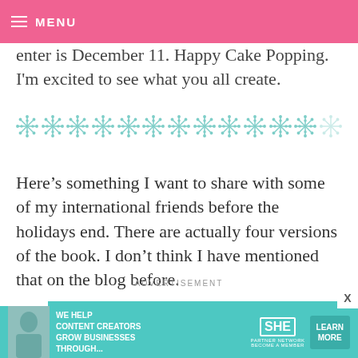MENU
enter is December 11. Happy Cake Popping. I'm excited to see what you all create.
[Figure (illustration): A decorative row of teal/mint colored snowflake symbols used as a divider]
Here's something I want to share with some of my international friends before the holidays end. There are actually four versions of the book. I don't think I have mentioned that on the blog before.
ADVERTISEMENT
[Figure (infographic): Advertisement banner for SHE Media Partner Network with text: WE HELP CONTENT CREATORS GROW BUSINESSES THROUGH... and a LEARN MORE button]